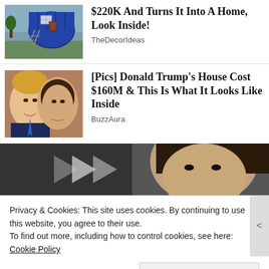[Figure (photo): Thumbnail of barrel-shaped home structure outside]
$220K And Turns It Into A Home, Look Inside!
TheDecorIdeas
[Figure (photo): Photo of Donald Trump and Melania Trump smiling]
[Pics] Donald Trump's House Cost $160M & This Is What It Looks Like Inside
BuzzAura
[Figure (photo): Wide cropped photo of a woman's face with dark hair, partially visible]
Privacy & Cookies: This site uses cookies. By continuing to use this website, you agree to their use.
To find out more, including how to control cookies, see here: Cookie Policy
Close and accept